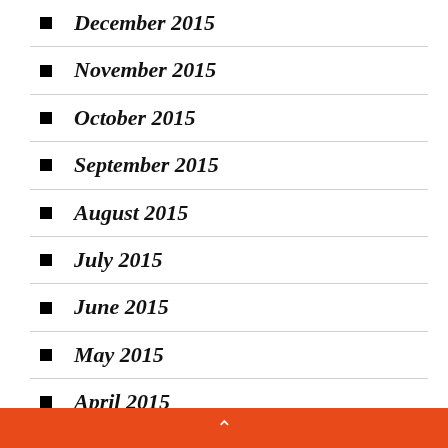December 2015
November 2015
October 2015
September 2015
August 2015
July 2015
June 2015
May 2015
April 2015